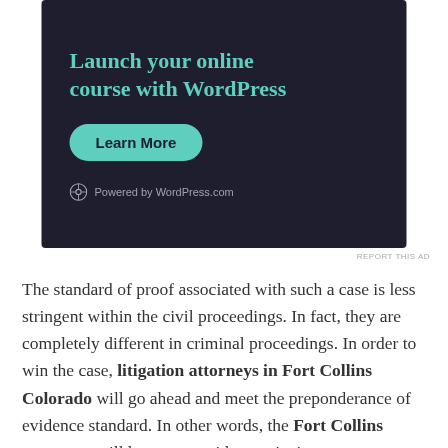[Figure (screenshot): WordPress advertisement banner with dark navy background showing 'Launch your online course with WordPress' in teal text, a teal 'Learn More' button, and 'Powered by WordPress.com' footer text with WordPress logo]
REPORT THIS AD
The standard of proof associated with such a case is less stringent within the civil proceedings. In fact, they are completely different in criminal proceedings. In order to win the case, litigation attorneys in Fort Collins Colorado will go ahead and meet the preponderance of evidence standard. In other words, the Fort Collins attorneys will have to provide convincing